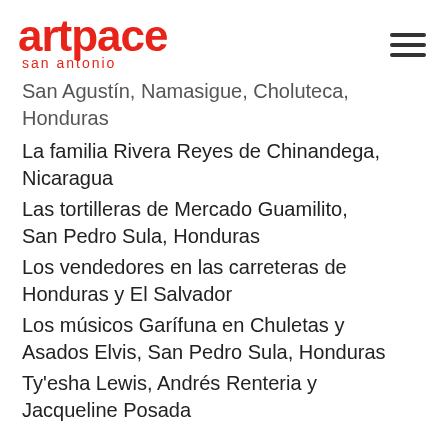artpace san antonio
San Agustín, Namasigue, Choluteca, Honduras
La familia Rivera Reyes de Chinandega, Nicaragua
Las tortilleras de Mercado Guamilito, San Pedro Sula, Honduras
Los vendedores en las carreteras de Honduras y El Salvador
Los músicos Garífuna en Chuletas y Asados Elvis, San Pedro Sula, Honduras
Ty'esha Lewis, Andrés Renteria y Jacqueline Posada